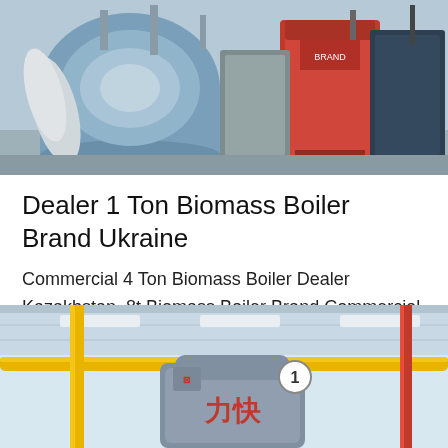[Figure (photo): Industrial biomass boilers in a factory setting, showing large cylindrical and box-shaped boiler units in blue, white, and red colors]
Dealer 1 Ton Biomass Boiler Brand Ukraine
Commercial 4 Ton Biomass Boiler Dealer Kazakhstan. 8t Biomass Boiler Brand Commercial Dealer Moldavia Agent 4 Ton Coal Boiler Plant Moldavia Fully Automatic 1 Ton Gas Boiler Brand Kazakhstan Steam Boiler 0.1-…
[Figure (other): Get Price button - blue rounded rectangle button with white text]
[Figure (photo): Interior of a vehicle or train showing yellow handrails, grey seat back with Chinese characters and a number 1 badge, and red pole]